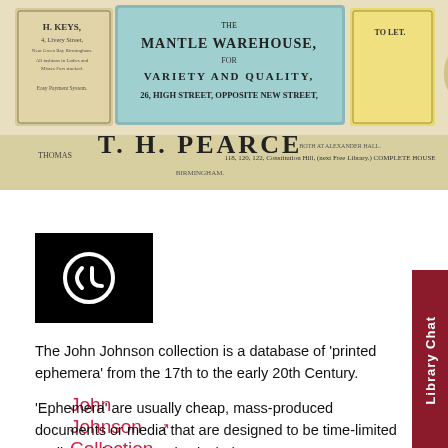[Figure (photo): Historical trade card image showing 'The Mantle Warehouse, for Variety and Quality, 26 High Street, Opposite New Street' with 'H. Keys, 4 Livery Street' and 'To Let' sections, and 'T.H. Pearce, 118, 120, 122 Constitution Hill (next Free Library) Complete House' at the bottom]
John Johnson Collection
[Figure (logo): Black square logo with a stylized white 'Ch' letter mark (Chadwyck-Healey / ProQuest logo)]
The John Johnson collection is a database of 'printed ephemera' from the 17th to the early 20th Century.
'Ephemera' are usually cheap, mass-produced documents or media that are designed to be time-limited or disposable. Examples include:
Advertisements
Posters, pamphlets and flyers
Product packaging
Postcards